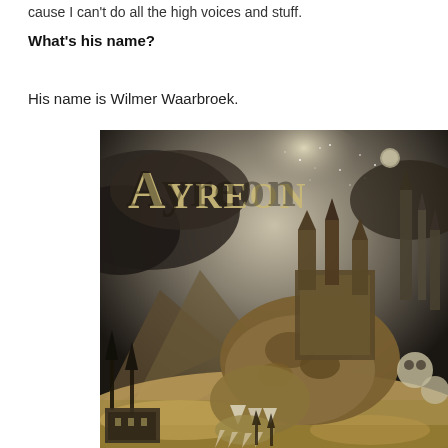cause I can't do all the high voices and stuff.
What's his name?
His name is Wilmer Waarbroek.
[Figure (illustration): Ayreon album cover art featuring a dark fantasy landscape with a creature bearing a castle-like structure on its back, mountains in the background, and the word 'Ayreon' in gothic lettering at the top.]